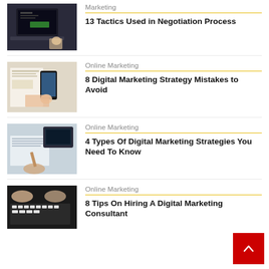[Figure (photo): Laptop screen with hand typing, dark background]
Marketing
13 Tactics Used in Negotiation Process
[Figure (photo): Hand holding phone over paper charts and notes]
Online Marketing
8 Digital Marketing Strategy Mistakes to Avoid
[Figure (photo): Person writing at desk with laptop]
Online Marketing
4 Types Of Digital Marketing Strategies You Need To Know
[Figure (photo): Hands typing on keyboard, dark background]
Online Marketing
8 Tips On Hiring A Digital Marketing Consultant